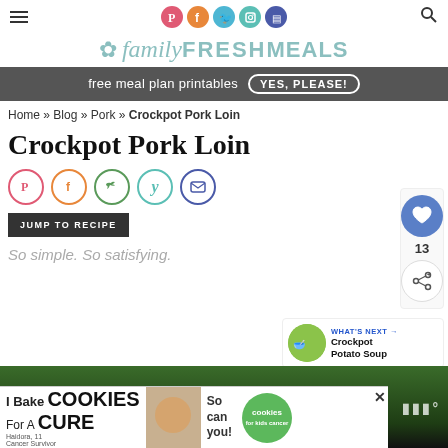familyFRESHMEALS
free meal plan printables YES, PLEASE!
Home » Blog » Pork » Crockpot Pork Loin
Crockpot Pork Loin
JUMP TO RECIPE
So simple. So satisfying.
[Figure (screenshot): WHAT'S NEXT arrow Crockpot Potato Soup widget with thumbnail]
[Figure (photo): Bottom portion of food photo with dark green background, partially covered by cookie baking charity ad overlay]